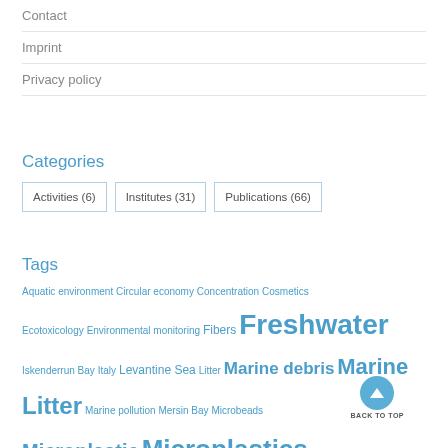Contact
Imprint
Privacy policy
Categories
Activities (6)
Institutes (31)
Publications (66)
Tags
Aquatic environment Circular economy Concentration Cosmetics Ecotoxicology Environmental monitoring Fibers Freshwater Iskenderrun Bay Italy Levantine Sea Litter Marine debris Marine Litter Marine pollution Mersin Bay Microbeads Microplastic Microplastics